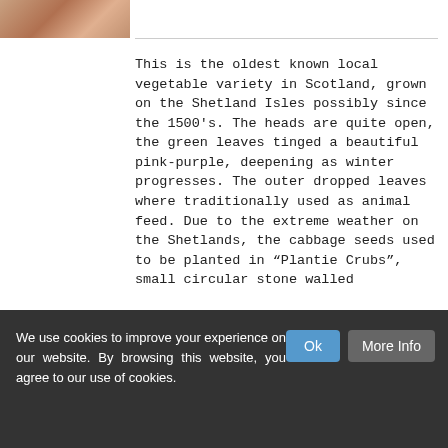[Figure (photo): Partial photo of a vegetable (cabbage), cropped at top-left corner]
This is the oldest known local vegetable variety in Scotland, grown on the Shetland Isles possibly since the 1500's. The heads are quite open, the green leaves tinged a beautiful pink-purple, deepening as winter progresses. The outer dropped leaves where traditionally used as animal feed. Due to the extreme weather on the Shetlands, the cabbage seeds used to be planted in “Plantie Crubs”, small circular stone walled enclosures before transplanting into larger fields also enclosed in stone walls. This lets the cabbage grow strong through the windy winter, the cabbage itself has a
We use cookies to improve your experience on our website. By browsing this website, you agree to our use of cookies.